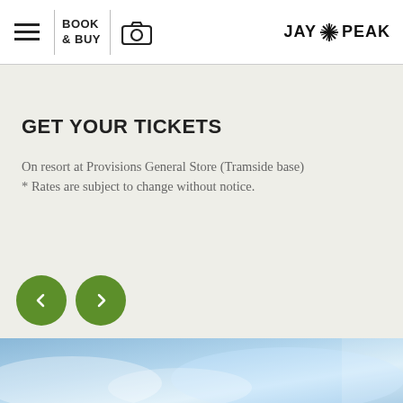BOOK & BUY | JAY PEAK
GET YOUR TICKETS
On resort at Provisions General Store (Tramside base)
* Rates are subject to change without notice.
[Figure (photo): Bottom image strip showing blue water or snow scene]